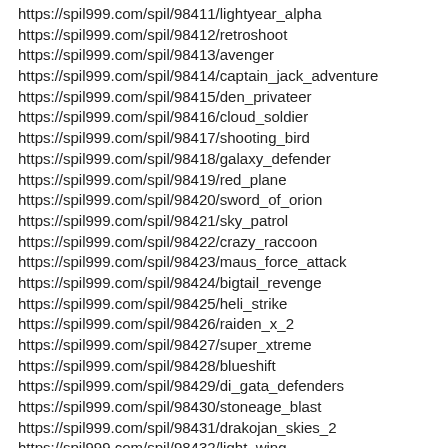https://spil999.com/spil/98411/lightyear_alpha
https://spil999.com/spil/98412/retroshoot
https://spil999.com/spil/98413/avenger
https://spil999.com/spil/98414/captain_jack_adventure
https://spil999.com/spil/98415/den_privateer
https://spil999.com/spil/98416/cloud_soldier
https://spil999.com/spil/98417/shooting_bird
https://spil999.com/spil/98418/galaxy_defender
https://spil999.com/spil/98419/red_plane
https://spil999.com/spil/98420/sword_of_orion
https://spil999.com/spil/98421/sky_patrol
https://spil999.com/spil/98422/crazy_raccoon
https://spil999.com/spil/98423/maus_force_attack
https://spil999.com/spil/98424/bigtail_revenge
https://spil999.com/spil/98425/heli_strike
https://spil999.com/spil/98426/raiden_x_2
https://spil999.com/spil/98427/super_xtreme
https://spil999.com/spil/98428/blueshift
https://spil999.com/spil/98429/di_gata_defenders
https://spil999.com/spil/98430/stoneage_blast
https://spil999.com/spil/98431/drakojan_skies_2
https://spil999.com/spil/98432/light_wing
https://spil999.com/spil/98433/duoblaster
https://spil999.com/spil/98434/sj_levandring
https://spil999.com/spil/98435/a_stitch_in_time_3